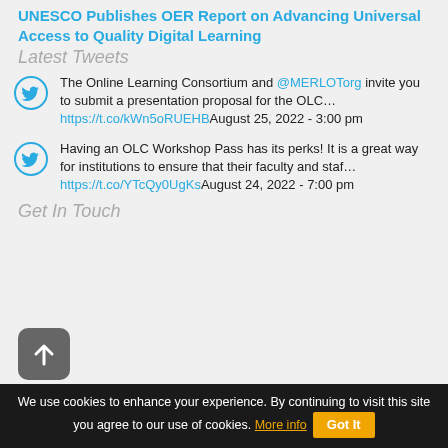UNESCO Publishes OER Report on Advancing Universal Access to Quality Digital Learning
Latest Tweets
The Online Learning Consortium and @MERLOTorg invite you to submit a presentation proposal for the OLC... https://t.co/kWn5oRUEHBAugust 25, 2022 - 3:00 pm
Having an OLC Workshop Pass has its perks! It is a great way for institutions to ensure that their faculty and staf... https://t.co/YTcQy0UgKsAugust 24, 2022 - 7:00 pm
Get In Touch
We use cookies to enhance your experience. By continuing to visit this site you agree to our use of cookies. More info Got It